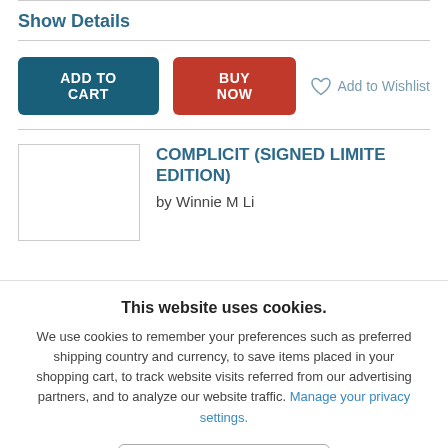Show Details
[Figure (screenshot): ADD TO CART button (dark teal), BUY NOW button (dark red), and Add to Wishlist link with heart icon]
[Figure (screenshot): Book thumbnail placeholder (white rectangle with border) next to product title COMPLICIT (SIGNED LIMITED EDITION) by Winnie M Li]
This website uses cookies.
We use cookies to remember your preferences such as preferred shipping country and currency, to save items placed in your shopping cart, to track website visits referred from our advertising partners, and to analyze our website traffic. Manage your privacy settings.
AGREE AND CLOSE